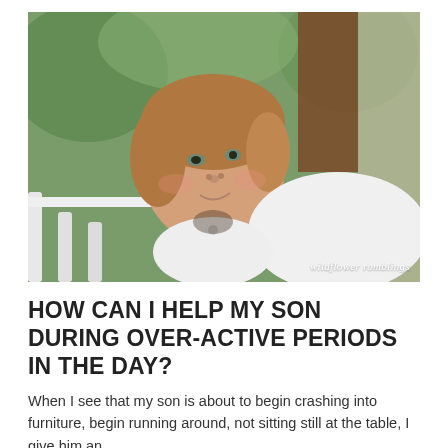[Figure (photo): A young child with light brown hair wearing a white shirt, looking up at the camera from a low angle. The background shows a doorway with wood framing and green trees. Watermark reads 'wildflower romblings' in bottom right corner.]
HOW CAN I HELP MY SON DURING OVER-ACTIVE PERIODS IN THE DAY?
When I see that my son is about to begin crashing into furniture, begin running around, not sitting still at the table, I give him an